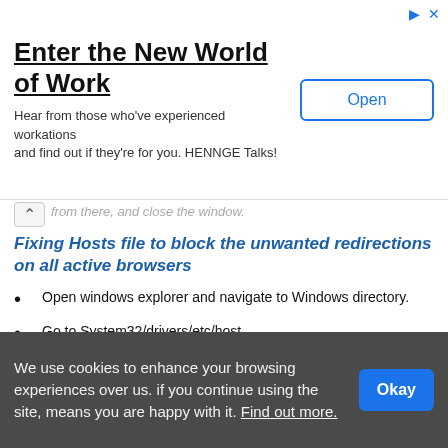[Figure (other): Advertisement banner: 'Enter the New World of Work' with subtitle 'Hear from those who've experienced workations and find out if they're for you. HENNGE Talks!' and an Open button]
from there, and close the window.
Fixing Hosts file to block the unwanted redirections on all active browsers
Open windows explorer and navigate to Windows directory.
Go to System32/drivers/etc/host
open the host file and notice it. If the system is hijacked by the infection you would see several IP definitions at the bottom.
[Figure (screenshot): Screenshot of hosts - Notepad application showing File Edit Format View Help menu and text: # Copyright (c) 1993-2009 Microsoft Corp. #]
We use cookies to enhance your browsing experiences over us. if you continue using the site, means you are happy with it. Find out more.